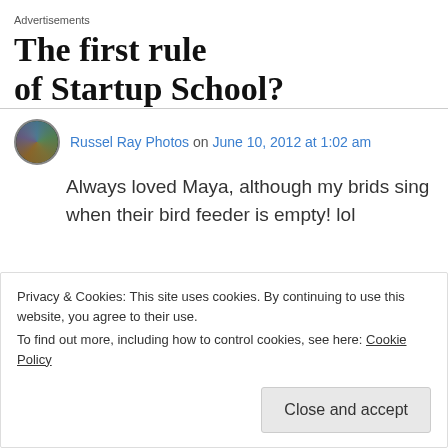Advertisements
[Figure (illustration): Partial advertisement showing text: 'The first rule of Startup School?' in bold serif font]
Russel Ray Photos on June 10, 2012 at 1:02 am
Always loved Maya, although my brids sing when their bird feeder is empty! lol
Privacy & Cookies: This site uses cookies. By continuing to use this website, you agree to their use.
To find out more, including how to control cookies, see here: Cookie Policy
Close and accept